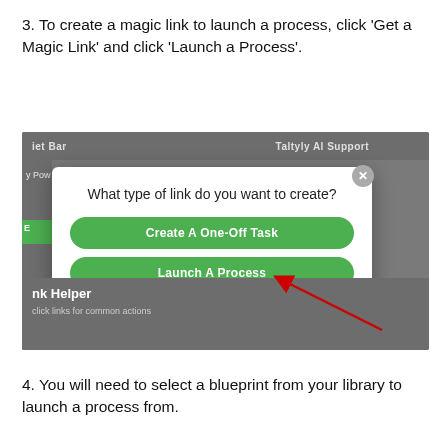3. To create a magic link to launch a process, click 'Get a Magic Link' and click 'Launch a Process'.
[Figure (screenshot): A web application dialog box on a dark grey background asking 'What type of link do you want to create?' with two green pill-shaped buttons: 'Create A One-Off Task' and 'Launch A Process'. A red arrow points to the 'Launch A Process' button. The background shows partial UI with header text and a 'nk Helper' section.]
4. You will need to select a blueprint from your library to launch a process from.